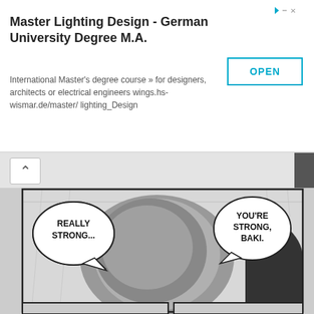[Figure (screenshot): Advertisement banner for Master Lighting Design German University Degree M.A. with an OPEN button in blue outline]
[Figure (illustration): Manga page from Baki showing a battered fighter's face with speech bubbles saying 'REALLY STRONG...' and 'YOU'RE STRONG, BAKI.' in the top panel, and two bottom panels: left showing a bloody face close-up with 'BUT..' speech bubble, right showing a wide-eyed character reacting.]